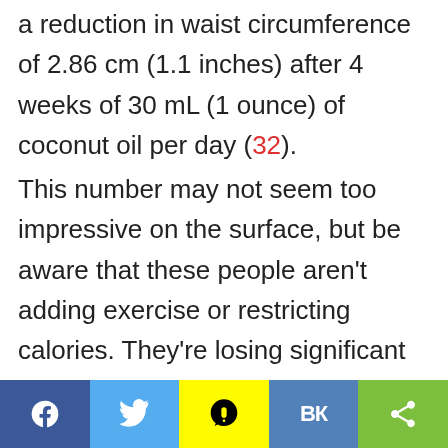a reduction in waist circumference of 2.86 cm (1.1 inches) after 4 weeks of 30 mL (1 ounce) of coconut oil per day (32). This number may not seem too impressive on the surface, but be aware that these people aren't adding exercise or restricting calories. They're losing significant amounts of abdominal fat simply by adding
Social share bar: Facebook, Twitter, Snapchat, VK, Share